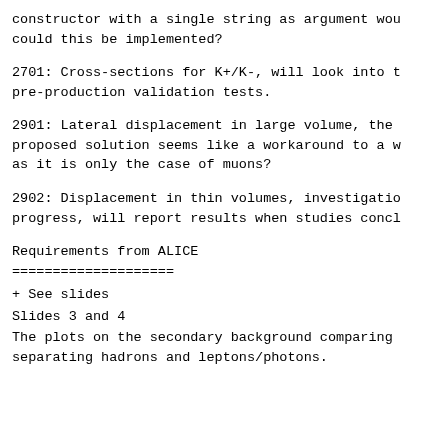constructor with a single string as argument wou... could this be implemented?
2701: Cross-sections for K+/K-, will look into t... pre-production validation tests.
2901: Lateral displacement in large volume, the ... proposed solution seems like a workaround to a w... as it is only the case of muons?
2902: Displacement in thin volumes, investigatio... progress, will report results when studies concl...
Requirements from ALICE
====================
+ See slides
Slides 3 and 4
The plots on the secondary background comparing ... separating hadrons and leptons/photons.